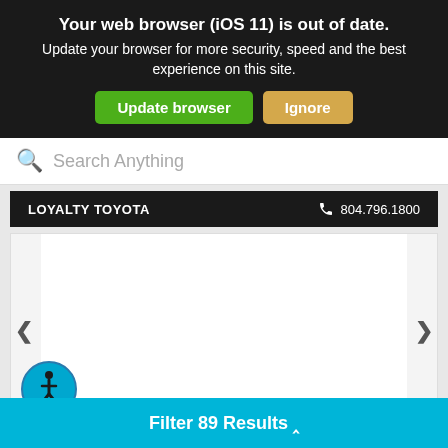Your web browser (iOS 11) is out of date. Update your browser for more security, speed and the best experience on this site.
Update browser
Ignore
Search Anything
LOYALTY TOYOTA
804.796.1800
[Figure (screenshot): Carousel navigation area with left and right arrows on a light gray background, and an accessibility icon (wheelchair symbol in blue circle) in the bottom-left corner]
Filter 89 Results ^